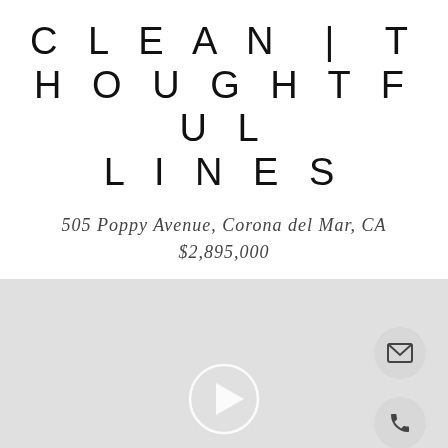CLEAN | THOUGHTFUL LINES
505 Poppy Avenue, Corona del Mar, CA
$2,895,000
[Figure (screenshot): Light grey video player area with a circular play button in the center, an envelope (email) icon button in the upper right, and a phone icon button below it on the right side.]